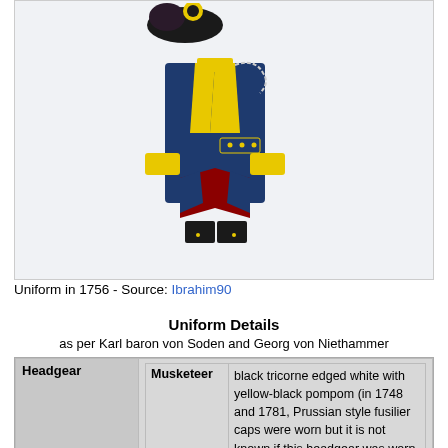[Figure (illustration): Illustration of a Prussian military uniform from 1756, showing a blue coat with yellow facings, yellow lapels and cuffs, red turnbacks, black tricorne hat with pompom, and black boots.]
Uniform in 1756 - Source: Ibrahim90
Uniform Details
as per Karl baron von Soden and Georg von Niethammer
|  | Role | Description |
| --- | --- | --- |
| Headgear | Musketeer | black tricorne edged white with yellow-black pompom (in 1748 and 1781, Prussian style fusilier caps were worn but it is not known if this headgear was worn during the Seven Years War) |
|  | Grenadier | Prussian style mitre cap with a yellow front plate |